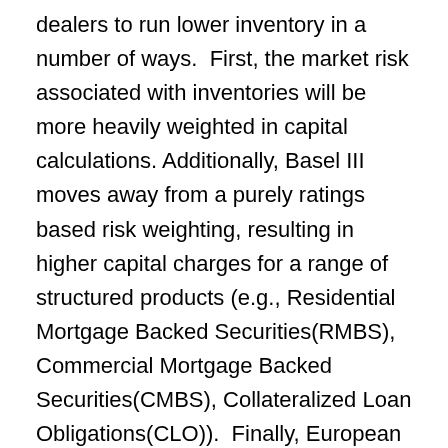dealers to run lower inventory in a number of ways.  First, the market risk associated with inventories will be more heavily weighted in capital calculations. Additionally, Basel III moves away from a purely ratings based risk weighting, resulting in higher capital charges for a range of structured products (e.g., Residential Mortgage Backed Securities(RMBS), Commercial Mortgage Backed Securities(CMBS), Collateralized Loan Obligations(CLO)).  Finally, European banks will be subject to a 3% minimum gross leverage ratio, which will meaningfully constrain the ability to grow